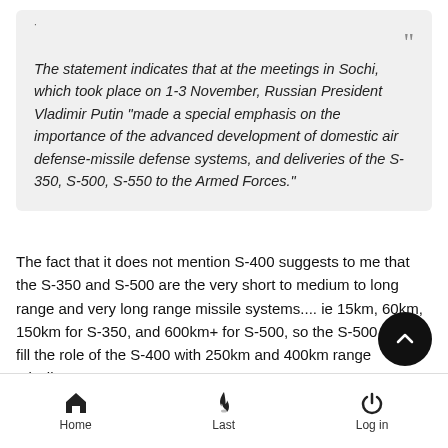The statement indicates that at the meetings in Sochi, which took place on 1-3 November, Russian President Vladimir Putin "made a special emphasis on the importance of the advanced development of domestic air defense-missile defense systems, and deliveries of the S-350, S-500, S-550 to the Armed Forces."
The fact that it does not mention S-400 suggests to me that the S-350 and S-500 are the very short to medium to long range and very long range missile systems.... ie 15km, 60km, 150km for S-350, and 600km+ for S-500, so the S-500 must fill the role of the S-400 with 250km and 400km range missiles.
I suspect new radar and systems developed for the S-500 may be added to the S-400 and upgraded missiles with improved
Home  Last  Log in